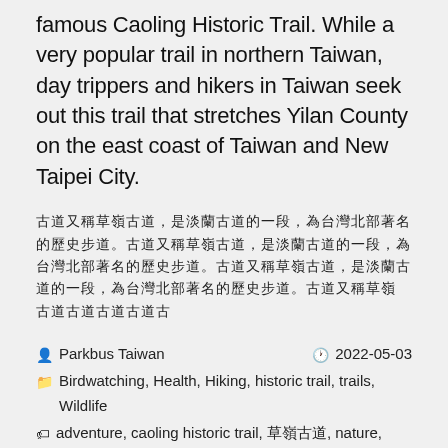famous Caoling Historic Trail. While a very popular trail in northern Taiwan, day trippers and hikers in Taiwan seek out this trail that stretches Yilan County on the east coast of Taiwan and New Taipei City.
古道又稱草嶺古道，是淡蘭古道的一段，為台灣北部著名的歷史步道。草嶺古道
Parkbus Taiwan   2022-05-03
Birdwatching, Health, Hiking, historic trail, trails, Wildlife
adventure, caoling historic trail, 草嶺古道, nature, New Taipei City, Taiwan, taiwan adventure
Leave a comment